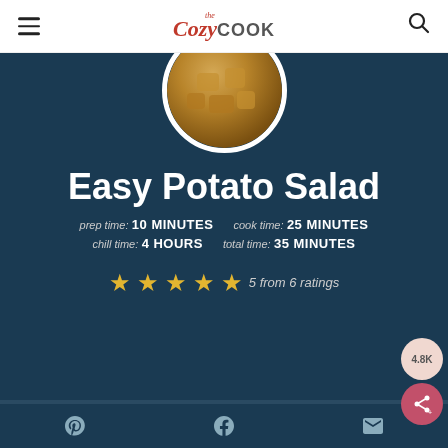The Cozy Cook
[Figure (photo): Circular photo of potato salad chunks]
Easy Potato Salad
prep time: 10 MINUTES  cook time: 25 MINUTES  chill time: 4 HOURS  total time: 35 MINUTES
5 from 6 ratings
SERVINGS: 8 PEOPLE  tap or hover to scale
Pinterest  Facebook  Email